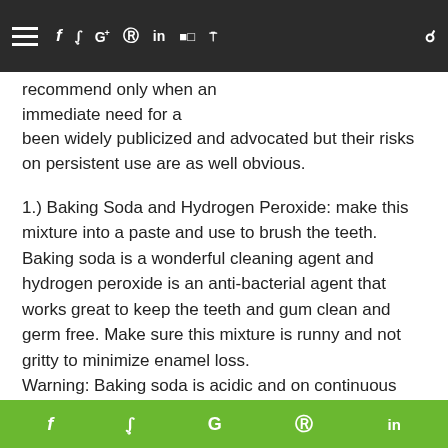Navigation bar with hamburger menu and social icons (Facebook, Twitter, Google+, Pinterest, LinkedIn, Flickr, RSS, Search)
recommend only when an immediate need for a Baking soda is a wonderful cleaning agent and hydrogen peroxide is an anti-bacterial agent that works great to keep the teeth and gum clean and germ free. Make sure this mixture is runny and not gritty to minimize enamel loss.
Warning: Baking soda is acidic and on continuous use can erode the enamel and gums.
been widely publicized and advocated but their risks on persistent use are as well obvious.
1.) Baking Soda and Hydrogen Peroxide: make this mixture into a paste and use to brush the teeth. Baking soda is a wonderful cleaning agent and hydrogen peroxide is an anti-bacterial agent that works great to keep the teeth and gum clean and germ free. Make sure this mixture is runny and not gritty to minimize enamel loss.
Warning: Baking soda is acidic and on continuous use can erode the enamel and gums.
2.) Apple Cider Vinegar: This makes aalot of sense, especially for nicotine and coffee.. Itt works excellently
Social share bar: Facebook, Twitter, Google+, Pinterest, LinkedIn